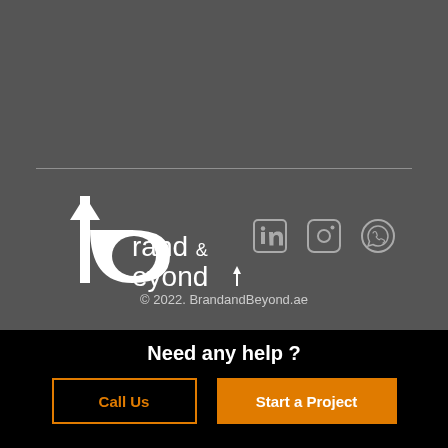[Figure (logo): Brand & Beyond logo in white with arrow icon]
[Figure (infographic): Social media icons: LinkedIn, Instagram, WhatsApp]
© 2022. BrandandBeyond.ae
Need any help ?
Call Us
Start a Project